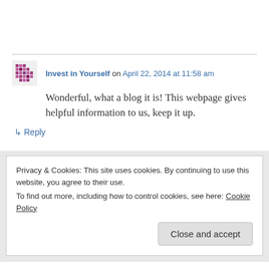Invest in Yourself on April 22, 2014 at 11:58 am
Wonderful, what a blog it is! This webpage gives helpful information to us, keep it up.
↳ Reply
Privacy & Cookies: This site uses cookies. By continuing to use this website, you agree to their use.
To find out more, including how to control cookies, see here: Cookie Policy
Close and accept